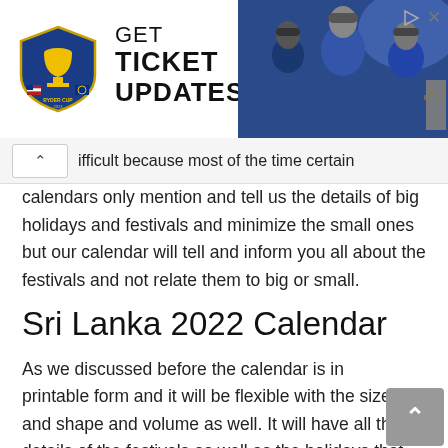[Figure (screenshot): Ryder Cup advertisement banner with logo on left showing a crest with 'RYDER CUP 2023', bold text reading 'GET TICKET UPDATES', and a photo of golfers/athletes on the right. Play and close icons in top right corner.]
ifficult because most of the time certain calendars only mention and tell us the details of big holidays and festivals and minimize the small ones but our calendar will tell and inform you all about the festivals and not relate them to big or small.
Sri Lanka 2022 Calendar
As we discussed before the calendar is in printable form and it will be flexible with the size and shape and volume as well. It will have all the details of the festivals as well as the holidays that fall in Sri Lanka.